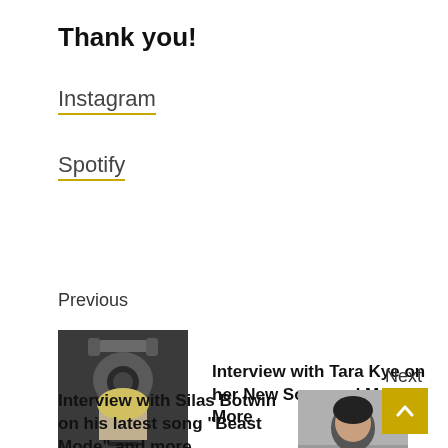Thank you!
Instagram
Spotify
Previous
[Figure (photo): Black and white photo of a woman with an ornate camera or device]
Interview with Tara Kye on her New Song and Much More
Next
[Figure (photo): Black and white photo of a young man]
Interview with Silas Botwin on his latest song “Beast Mode” and more